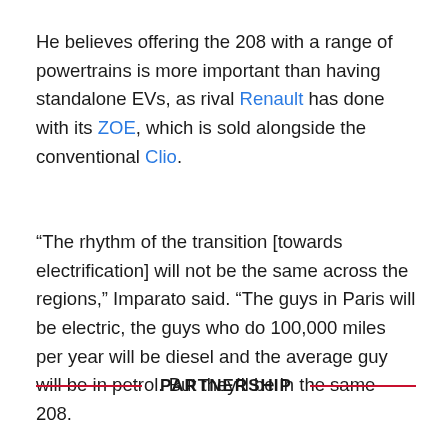He believes offering the 208 with a range of powertrains is more important than having standalone EVs, as rival Renault has done with its ZOE, which is sold alongside the conventional Clio.
“The rhythm of the transition [towards electrification] will not be the same across the regions,” Imparato said. “The guys in Paris will be electric, the guys who do 100,000 miles per year will be diesel and the average guy will be in petrol. But they’ll be in the same 208.
PARTNERSHIP